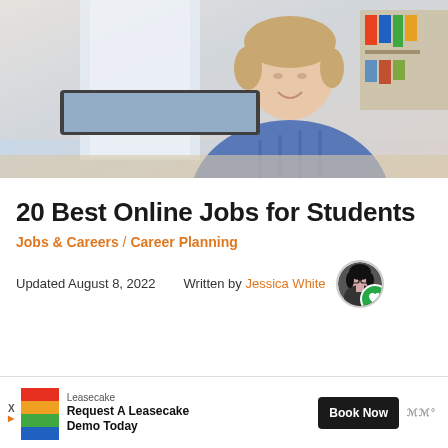[Figure (photo): Young man smiling while working on a laptop at a desk, wearing a blue plaid shirt, with bookshelves in the background]
20 Best Online Jobs for Students
Jobs & Careers / Career Planning
Updated August 8, 2022   Written by Jessica White
[Figure (photo): Round author avatar photo of Jessica White wearing glasses]
[Figure (other): Advertisement banner: Leasecake logo, text 'Request A Leasecake Demo Today', Book Now button]